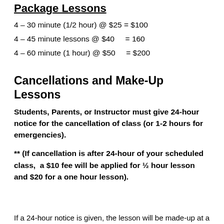Package Lessons
4 – 30 minute (1/2 hour) @ $25 = $100
4 – 45 minute lessons @ $40     = 160
4 – 60 minute (1 hour) @ $50     = $200
Cancellations and Make-Up Lessons
Students, Parents, or Instructor must give 24-hour notice for the cancellation of class (or 1-2 hours for emergencies).
** (If cancellation is after 24-hour of your scheduled class,  a $10 fee will be applied for ½ hour lesson and $20 for a one hour lesson).
If a 24-hour notice is given, the lesson will be made-up at a time convenient to both student and teacher. Otherwise, no make-up lesson will be given and Student(s)